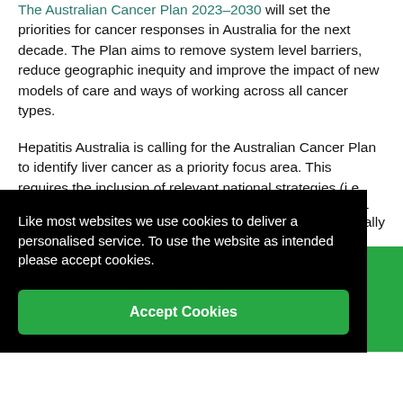The Australian Cancer Plan 2023-2030 will set the priorities for cancer responses in Australia for the next decade. The Plan aims to remove system level barriers, reduce geographic inequity and improve the impact of new models of care and ways of working across all cancer types.
Hepatitis Australia is calling for the Australian Cancer Plan to identify liver cancer as a priority focus area. This requires the inclusion of relevant national strategies (i.e. the National Hepatitis B and Hepatitis C Strategies 2023-2030 and the National Aboriginal and Torres Strait Islander Blood-borne Virus and Sexually Transmitted Infections Strategy) and liver cancer specific...
Like most websites we use cookies to deliver a personalised service. To use the website as intended please accept cookies.
Accept Cookies